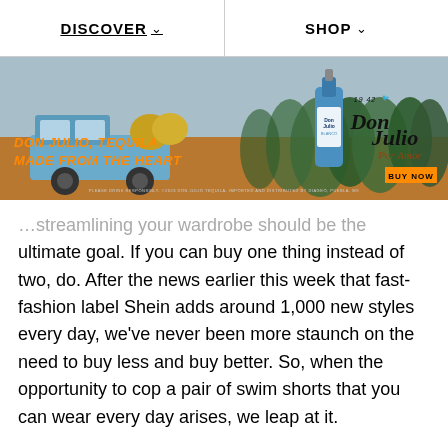DISCOVER ∨   SHOP ∨
[Figure (photo): Don Julio tequila advertisement banner showing a vintage blue truck in an agave field. Text reads 'DON JULIO, TEQUILA MADE FROM THE HEART' in orange. Features Don Julio Blanco bottle and 'Don Julio Por Amor' branding with 1942 edition mark and 'BUY NOW' button.]
…streamlining your wardrobe should be the ultimate goal. If you can buy one thing instead of two, do. After the news earlier this week that fast-fashion label Shein adds around 1,000 new styles every day, we've never been more staunch on the need to buy less and buy better. So, when the opportunity to cop a pair of swim shorts that you can wear every day arises, we leap at it.
With the tentative prospect of summer actually